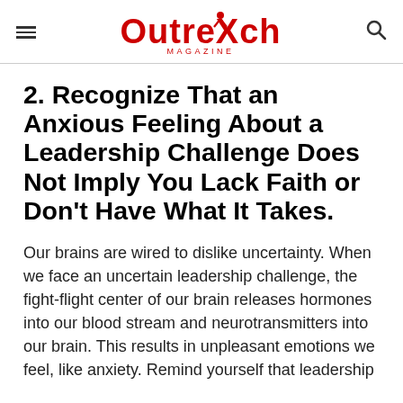Outreach Magazine
2. Recognize That an Anxious Feeling About a Leadership Challenge Does Not Imply You Lack Faith or Don't Have What It Takes.
Our brains are wired to dislike uncertainty. When we face an uncertain leadership challenge, the fight-flight center of our brain releases hormones into our blood stream and neurotransmitters into our brain. This results in unpleasant emotions we feel, like anxiety. Remind yourself that leadership